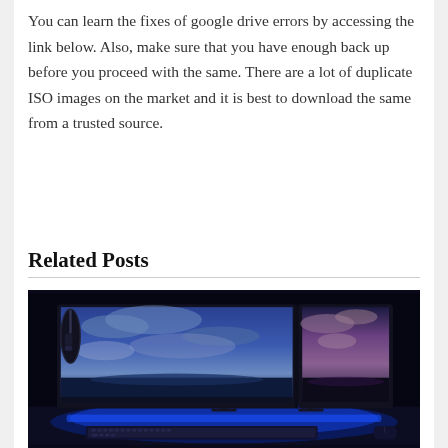You can learn the fixes of google drive errors by accessing the link below. Also, make sure that you have enough back up before you proceed with the same. There are a lot of duplicate ISO images on the market and it is best to download the same from a trusted source.
Related Posts
[Figure (photo): A dual-monitor computer setup on a desk with blue LED lighting underneath, showing a scenic sky wallpaper on both screens, with headphones on the left monitor and a keyboard on the desk.]